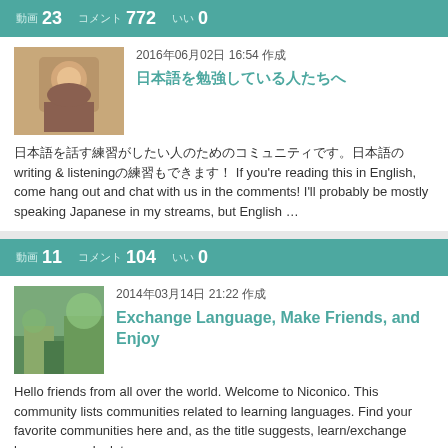動画 23　コメント 772　いい 0
2016年06月02日 16:54 作成
日本語を勉強している人たちへ
日本語を話す練習がしたい人のためのコミュニティです。writing & listeningの練習もできます！ If you're reading this in English, come hang out and chat with us in the comments! I'll probably be mostly speaking Japanese in my streams, but English …
動画 11　コメント 104　いい 0
2014年03月14日 21:22 作成
Exchange Language, Make Friends, and Enjoy
Hello friends from all over the world. Welcome to Niconico. This community lists communities related to learning languages. Find your favorite communities here and, as the title suggests, learn/exchange language, make lots …
動画 13　コメント 196　いい 0